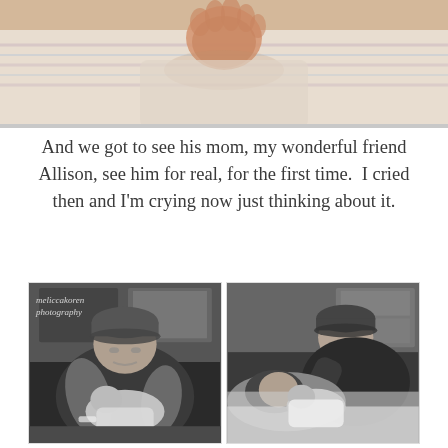[Figure (photo): Close-up color photo of a newborn baby being held or swaddled, cropped at top of page]
And we got to see his mom, my wonderful friend Allison, see him for real, for the first time.  I cried then and I'm crying now just thinking about it.
[Figure (photo): Two black and white photos side by side: left shows a man in a backwards cap holding and bottle-feeding a newborn in a hospital room with 'meliccakoren photography' watermark; right shows the same man leaning over a woman lying down who is holding the newborn baby]